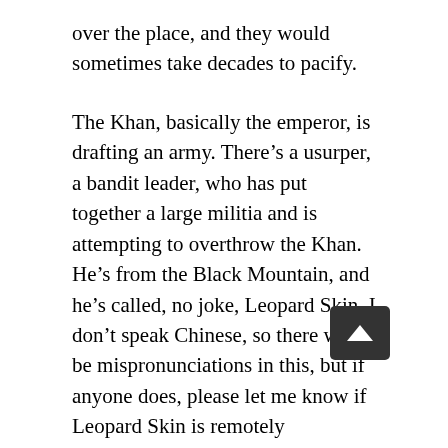over the place, and they would sometimes take decades to pacify.
The Khan, basically the emperor, is drafting an army. There’s a usurper, a bandit leader, who has put together a large militia and is attempting to overthrow the Khan. He’s from the Black Mountain, and he’s called, no joke, Leopard Skin. I don’t speak Chinese, so there will be mispronunciations in this, but if anyone does, please let me know if Leopard Skin is remotely intimidating. It just makes me think of some bandit leader in leopard print spandex dance fighting around his cave. Oh also, there will be dance fighting later.
Ok, so Leopard Skin has raised an army of over 100,000 men, one that represents an existential threat to the empire. The khan needs as many men as he can get. He